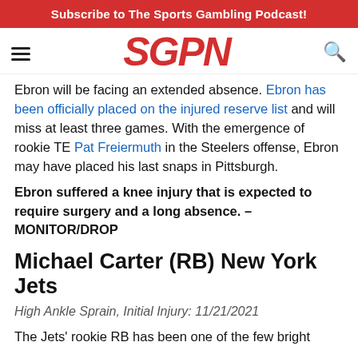Subscribe to The Sports Gambling Podcast!
[Figure (logo): SGPN logo in red italic bold text with hamburger menu icon on left and search icon on right]
Ebron will be facing an extended absence. Ebron has been officially placed on the injured reserve list and will miss at least three games. With the emergence of rookie TE Pat Freiermuth in the Steelers offense, Ebron may have placed his last snaps in Pittsburgh.
Ebron suffered a knee injury that is expected to require surgery and a long absence. – MONITOR/DROP
Michael Carter (RB) New York Jets
High Ankle Sprain, Initial Injury: 11/21/2021
The Jets' rookie RB has been one of the few bright